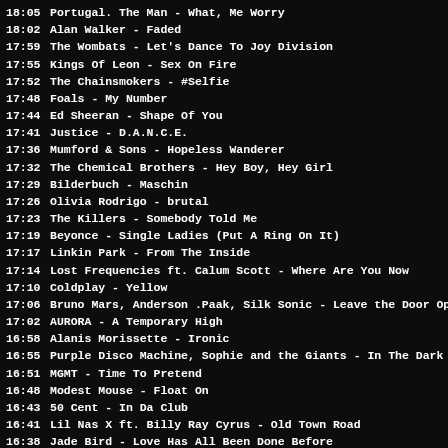18:05  Portugal. The Man - What, Me Worry
18:02  Alan Walker - Faded
17:59  The Wombats - Let's Dance To Joy Division
17:55  Kings Of Leon - Sex On Fire
17:52  The Chainsmokers - #Selfie
17:48  Foals - My Number
17:44  Ed Sheeran - Shape Of You
17:41  Justice - D.A.N.C.E.
17:36  Mumford & Sons - Hopeless Wanderer
17:32  The Chemical Brothers - Hey Boy, Hey Girl
17:29  Bilderbuch - Maschin
17:26  Olivia Rodrigo - brutal
17:23  The Killers - Somebody Told Me
17:19  Beyonce - Single Ladies (Put A Ring On It)
17:17  Linkin Park - From The Inside
17:14  Lost Frequencies ft. Calum Scott - Where Are You Now
17:10  Coldplay - Yellow
17:06  Bruno Mars, Anderson .Paak, Silk Sonic - Leave the Door Open
17:02  AURORA - A Temporary High
16:58  Alanis Morissette - Ironic
16:55  Purple Disco Machine, Sophie and the Giants - In The Dark
16:51  MGMT - Time To Pretend
16:48  Modest Mouse - Float On
16:43  50 Cent - In Da Club
16:41  Lil Nas X ft. Billy Ray Cyrus - Old Town Road
16:38  Jade Bird - Love Has All Been Done Before
16:34  La Roux - Bulletproof
16:30  Snow Patrol - Run